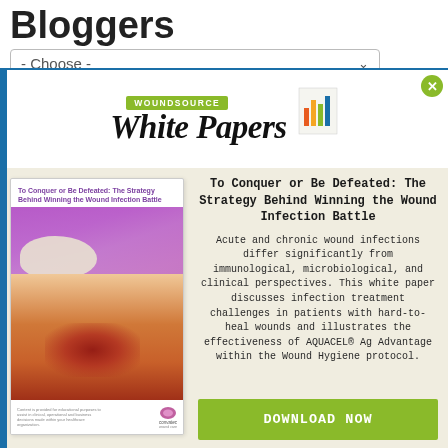Bloggers
- Choose -
[Figure (logo): WoundSource White Papers logo with bar chart icon]
[Figure (photo): Book cover: To Conquer or Be Defeated: The Strategy Behind Winning the Wound Infection Battle, showing a wound on a patient's leg, published by Convatec]
To Conquer or Be Defeated: The Strategy Behind Winning the Wound Infection Battle
Acute and chronic wound infections differ significantly from immunological, microbiological, and clinical perspectives. This white paper discusses infection treatment challenges in patients with hard-to-heal wounds and illustrates the effectiveness of AQUACEL® Ag Advantage within the Wound Hygiene protocol.
DOWNLOAD NOW